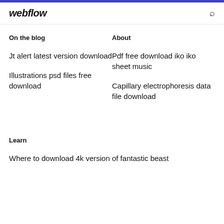webflow
On the blog
About
Jt alert latest version download
Pdf free download iko iko sheet music
Illustrations psd files free download
Capillary electrophoresis data file download
Learn
Where to download 4k version of fantastic beast